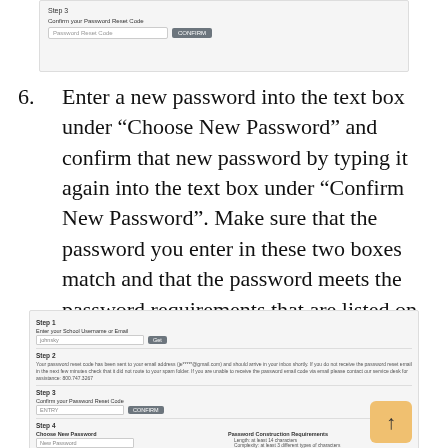[Figure (screenshot): Top partial screenshot showing Step 3 with 'Confirm your Password Reset Code' label, a password reset code input field, and a Confirm button.]
6. Enter a new password into the text box under "Choose New Password" and confirm that new password by typing it again into the text box under "Confirm New Password". Make sure that the password you enter in these two boxes match and that the password meets the password requirements that are listed on this page.
[Figure (screenshot): Bottom screenshot showing a multi-step password reset form: Step 1 with username field, Step 2 with email verification text and phone number, Step 3 with password reset code input and Confirm button, Step 4 with Choose New Password and Password Construction Requirements fields.]